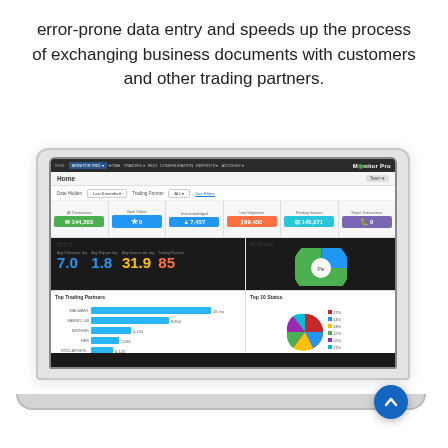error-prone data entry and speeds up the process of exchanging business documents with customers and other trading partners.
[Figure (screenshot): Screenshot of a software dashboard labeled 'Monitor Pro' showing KPI cards (144,303 transactions, 0 open orders, 7,457 unacknowledged, 99,450 late shipments, 145,971 pending invoices, 0 reject transactions), statistics (avg orders/day: 7.0, avg ship/day: 1.8, avg invoices/day: 31.9, trading partners: 85), a Top Trading Partners horizontal bar chart, a PO Status donut chart, and a Top 10 Status pie chart, displayed inside a laptop frame.]